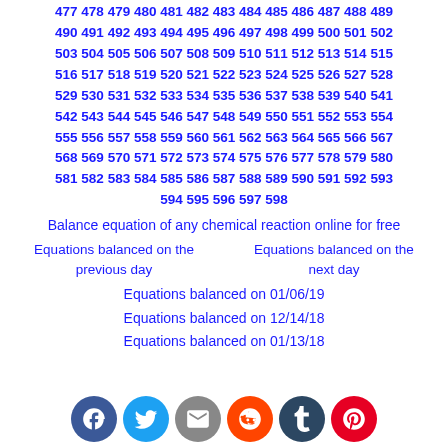477 478 479 480 481 482 483 484 485 486 487 488 489 490 491 492 493 494 495 496 497 498 499 500 501 502 503 504 505 506 507 508 509 510 511 512 513 514 515 516 517 518 519 520 521 522 523 524 525 526 527 528 529 530 531 532 533 534 535 536 537 538 539 540 541 542 543 544 545 546 547 548 549 550 551 552 553 554 555 556 557 558 559 560 561 562 563 564 565 566 567 568 569 570 571 572 573 574 575 576 577 578 579 580 581 582 583 584 585 586 587 588 589 590 591 592 593 594 595 596 597 598
Balance equation of any chemical reaction online for free
Equations balanced on the previous day
Equations balanced on the next day
Equations balanced on 01/06/19
Equations balanced on 12/14/18
Equations balanced on 01/13/18
[Figure (infographic): Social media share icons: Facebook (blue), Twitter (light blue), Email (gray), Reddit (orange), Tumblr (dark navy), Pinterest (red)]